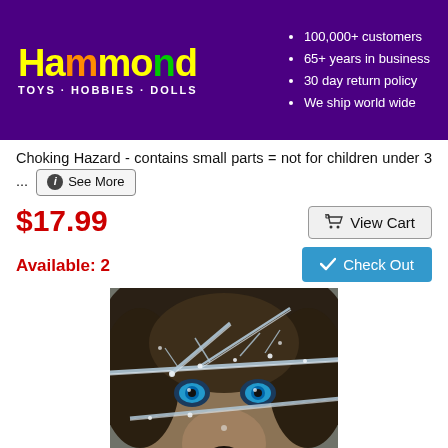Hammond TOYS·HOBBIES·DOLLS | 100,000+ customers | 65+ years in business | 30 day return policy | We ship world wide
Choking Hazard - contains small parts = not for children under 3 ... See More
$17.99
Available: 2
[Figure (photo): Close-up photo of a wolf with striking blue eyes, peering through frost-covered winter branches with snow on its fur]